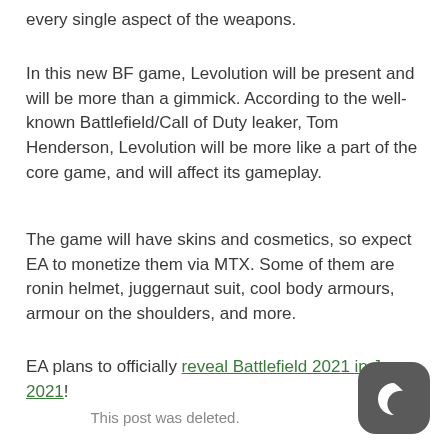every single aspect of the weapons.
In this new BF game, Levolution will be present and will be more than a gimmick. According to the well-known Battlefield/Call of Duty leaker, Tom Henderson, Levolution will be more like a part of the core game, and will affect its gameplay.
The game will have skins and cosmetics, so expect EA to monetize them via MTX. Some of them are ronin helmet, juggernaut suit, cool body armours, armour on the shoulders, and more.
EA plans to officially reveal Battlefield 2021 in June 2021!
This post was deleted.
[Figure (logo): Dark grey rounded square icon with a white crescent moon shape inside]